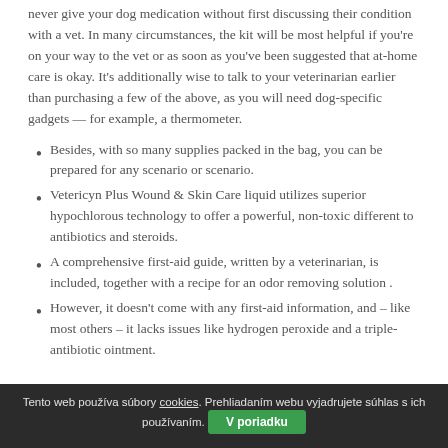never give your dog medication without first discussing their condition with a vet. In many circumstances, the kit will be most helpful if you're on your way to the vet or as soon as you've been suggested that at-home care is okay. It's additionally wise to talk to your veterinarian earlier than purchasing a few of the above, as you will need dog-specific gadgets — for example, a thermometer.
Besides, with so many supplies packed in the bag, you can be prepared for any scenario or scenario.
Vetericyn Plus Wound & Skin Care liquid utilizes superior hypochlorous technology to offer a powerful, non-toxic different to antibiotics and steroids.
A comprehensive first-aid guide, written by a veterinarian, is included, together with a recipe for an odor removing solution .
However, it doesn't come with any first-aid information, and – like most others – it lacks issues like hydrogen peroxide and a triple-antibiotic ointment.
Tento web používa súbory cookies. Prehliadaním webu vyjadrujete súhlas s ich používaním. V poriadku